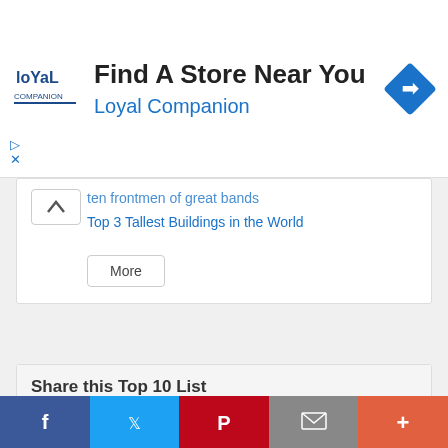[Figure (screenshot): Loyal Companion advertisement banner with logo, 'Find A Store Near You' heading, 'Loyal Companion' subtitle in blue, and a blue navigation/direction icon on the right]
ten frontmen of great bands
Top 3 Tallest Buildings in the World
More
Share this Top 10 List
[Figure (screenshot): Row of social share icon buttons: Facebook (dark blue), Twitter (blue), Email (grey), Pinterest (red), LinkedIn (teal), Reddit (orange), Tumblr (dark navy), More (orange-red)]
Feeling Creative?
[Figure (screenshot): Bottom share bar with Facebook (dark blue), Twitter (blue), Pinterest (red), Email (grey), More (orange-red) buttons]